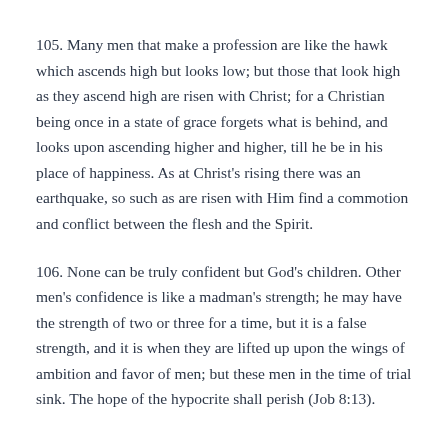105. Many men that make a profession are like the hawk which ascends high but looks low; but those that look high as they ascend high are risen with Christ; for a Christian being once in a state of grace forgets what is behind, and looks upon ascending higher and higher, till he be in his place of happiness. As at Christ's rising there was an earthquake, so such as are risen with Him find a commotion and conflict between the flesh and the Spirit.
106. None can be truly confident but God's children. Other men's confidence is like a madman's strength; he may have the strength of two or three for a time, but it is a false strength, and it is when they are lifted up upon the wings of ambition and favor of men; but these men in the time of trial sink. The hope of the hypocrite shall perish (Job 8:13).